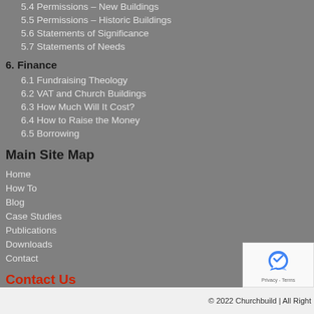5.4 Permissions – New Buildings
5.5 Permissions – Historic Buildings
5.6 Statements of Significance
5.7 Statements of Needs
6. Finance
6.1 Fundraising Theology
6.2 VAT and Church Buildings
6.3 How Much Will It Cost?
6.4 How to Raise the Money
6.5 Borrowing
Main Site Map
Home
How To
Blog
Case Studies
Publications
Downloads
Contact
Contact Us
© 2022 Churchbuild | All Right…